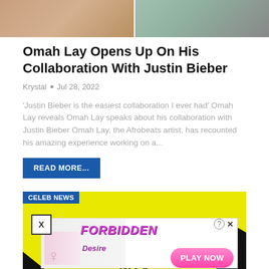[Figure (photo): Cropped photo showing two people from the neck/chest area, one in white hoodie on left, one with necklace on right with teal garment, beige/brown tones]
Omah Lay Opens Up On His Collaboration With Justin Bieber
Krystal • Jul 28, 2022
'Justin Bieber is the easiest collaboration I ever had' Omah Lay reveals Omah Lay speaks about his collaboration with Justin Bieber Omah Lay, the Afrobeats artist, has recounted his amazing experience working on a...
READ MORE...
[Figure (screenshot): Bottom image showing CELEB NEWS tag in blue, yellow background MTV logo area, with an ad overlay for 'FORBIDDEN Desire' game with PLAY NOW button, and a close/X box in corner]